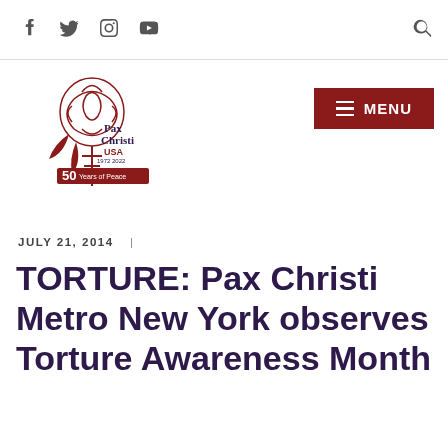Social icons: Facebook, Twitter, Instagram, YouTube; Search icon
[Figure (logo): Pax Christi USA logo with rose illustration and '50 Years of Peace' banner, 1972-2022]
MENU
JULY 21, 2014  |
TORTURE: Pax Christi Metro New York observes Torture Awareness Month